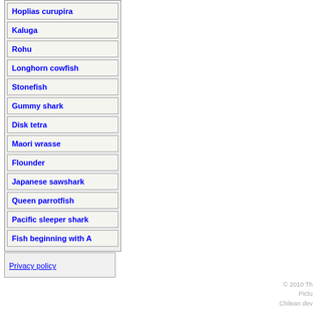Hoplias curupira
Kaluga
Rohu
Longhorn cowfish
Stonefish
Gummy shark
Disk tetra
Maori wrasse
Flounder
Japanese sawshark
Queen parrotfish
Pacific sleeper shark
Fish beginning with A
Privacy policy
© 2010 Th... Pictu... Chilean dev...